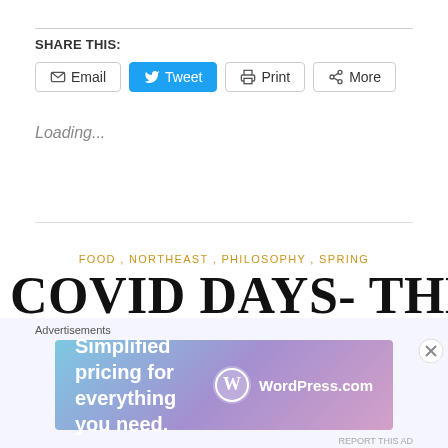SHARE THIS:
[Figure (screenshot): Social sharing buttons: Email, Tweet (blue), Print, More]
Loading...
FOOD , NORTHEAST , PHILOSOPHY , SPRING
COVID DAYS- THE SECOND
[Figure (screenshot): WordPress.com advertisement banner: Simplified pricing for everything you need.]